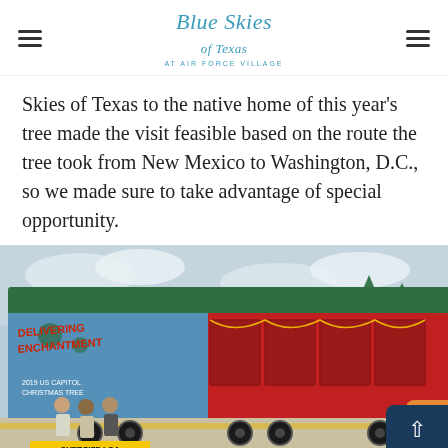Blue Skies of Texas at Air Force Village
Skies of Texas to the native home of this year's tree made the visit feasible based on the route the tree took from New Mexico to Washington, D.C., so we made sure to take advantage of special opportunity.
[Figure (photo): Large flatbed trailer truck carrying the US Capitol Christmas Tree, decorated with Christmas tree imagery and text reading 'Delivering Enchantment' and '2019 US Capitol Christmas Tree'. Three men stand in front of the trailer for a photo.]